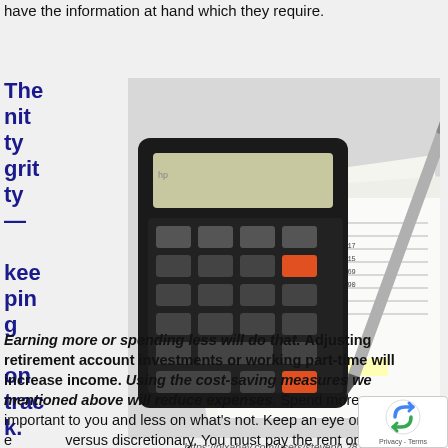have the information at hand which they require.
The nitty gritty — keeping on track.
[Figure (photo): Calculator placed on financial documents with a pen, showing numbers and calculations.]
https://pixabay.com/users/stevepb-282134/
Earning more or spending less will do that. Adjusting retirement account investments or working part-time will increase income. Using the cost-saving measures we mentioned above will reduce expenses. Spend more on important to you and less on what's not. Keep an eye on e versus discretionary. You must pay the rent or mortgage. You